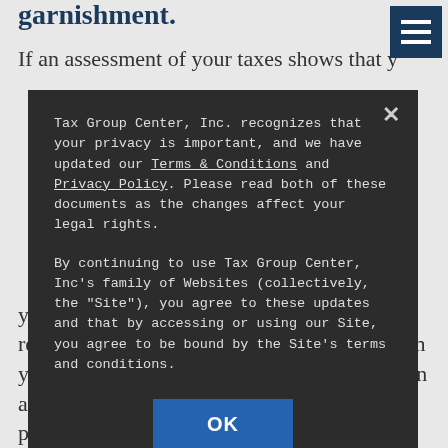garnishment.
If an assessment of your taxes shows that y...
[Figure (screenshot): Privacy policy modal dialog overlay with dark background. Contains text about Tax Group Center, Inc. privacy update, Terms & Conditions and Privacy Policy links, and an OK button.]
you take steps to reach out to the IRS to resolve your issue before money is taken from your paycheck. You could be eligible to get on a payment plan that will provide you with protection from wage garnishments as you